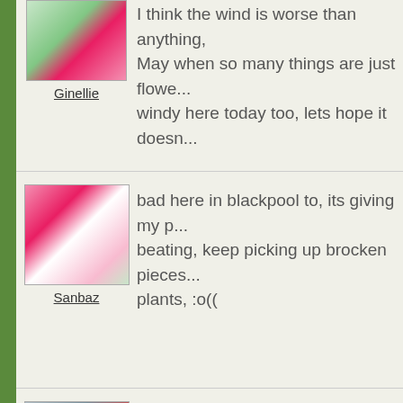[Figure (photo): User avatar showing flowers/tulips for user Ginellie]
Ginellie
I think the wind is worse than anything,  May when so many things are just flowe... windy here today too, lets hope it doesn...
[Figure (photo): User avatar showing a woman with pink flowers for user Sanbaz]
Sanbaz
bad here in blackpool to, its giving my p... beating, keep picking up brocken pieces... plants, :o((
[Figure (photo): User avatar showing a person outdoors for user Regina]
Regina
April showers brings May showers......e... enough
May get a little break this weekend......p
[Figure (other): User avatar showing a number/question mark icon]
It's been rough here today aswell. It's g...